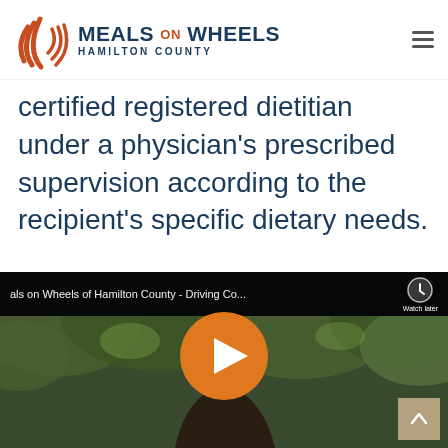Meals on Wheels Hamilton County
certified registered dietitian under a physician's prescribed supervision according to the recipient's specific dietary needs.
[Figure (screenshot): YouTube video thumbnail showing a woman outdoors with trees in background. Video title reads 'als on Wheels of Hamilton County - Driving Co...' with a Watch Later icon. An orange play button is centered on the video.]